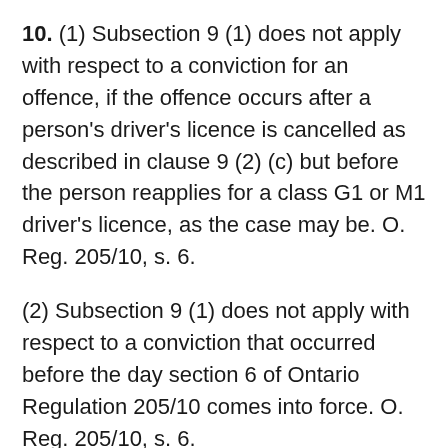10. (1) Subsection 9 (1) does not apply with respect to a conviction for an offence, if the offence occurs after a person's driver's licence is cancelled as described in clause 9 (2) (c) but before the person reapplies for a class G1 or M1 driver's licence, as the case may be. O. Reg. 205/10, s. 6.
(2) Subsection 9 (1) does not apply with respect to a conviction that occurred before the day section 6 of Ontario Regulation 205/10 comes into force. O. Reg. 205/10, s. 6.
(3) Subsection 9 (1) does not apply with respect to a conviction for an offence described in paragraph 3 or 4 of subsection 9 (3), if at the time